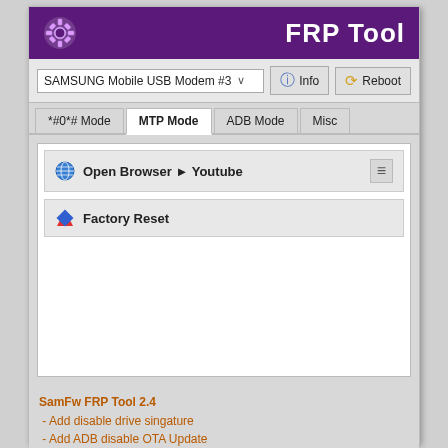FRP Tool
SAMSUNG Mobile USB Modem #3
Info   Reboot
*#0*# Mode   MTP Mode   ADB Mode   Misc
Open Browser ► Youtube
Factory Reset
SamFw FRP Tool 2.4
 - Add disable drive singature
 - Add ADB disable OTA Update
 - Add Open Browser multi options (Youtube/Google Map/Samsung Browser
 - Optimize UI